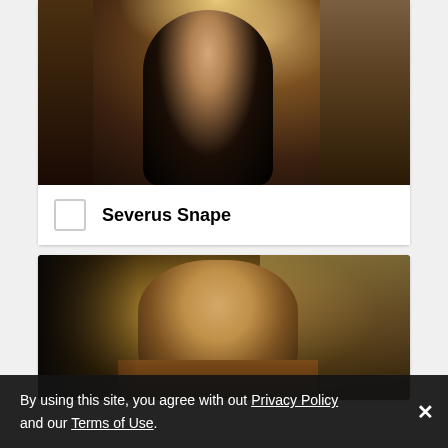[Figure (photo): Photo of Severus Snape character (Alan Rickman) in dark robes walking through a corridor with other figures in background]
Severus Snape
[Figure (photo): Photo of Cedric Diggory character (Robert Pattinson) looking sideways with blurred background]
By using this site, you agree with out Privacy Policy and our Terms of Use.